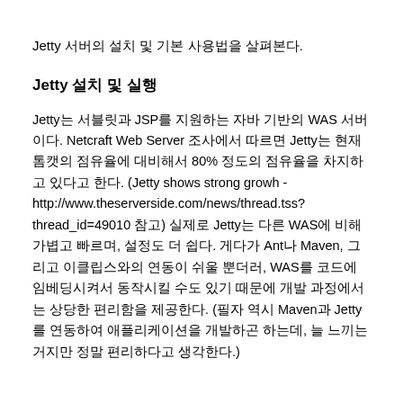Jetty 서버의 설치 및 기본 사용법을 살펴본다.
Jetty 설치 및 실행
Jetty는 서블릿과 JSP를 지원하는 자바 기반의 WAS 서버이다. Netcraft Web Server 조사에서 따르면 Jetty는 현재 톰캣의 점유율에 대비해서 80% 정도의 점유율을 차지하고 있다고 한다. (Jetty shows strong growh - http://www.theserverside.com/news/thread.tss?thread_id=49010 참고) 실제로 Jetty는 다른 WAS에 비해 가볍고 빠르며, 설정도 더 쉽다. 게다가 Ant나 Maven, 그리고 이클립스와의 연동이 쉬울 뿐더러, WAS를 코드에 임베딩시켜서 동작시킬 수도 있기 때문에 개발 과정에서는 상당한 편리함을 제공한다. (필자 역시 Maven과 Jetty를 연동하여 애플리케이션을 개발하곤 하는데, 늘 느끼는 거지만 정말 편리하다고 생각한다.)